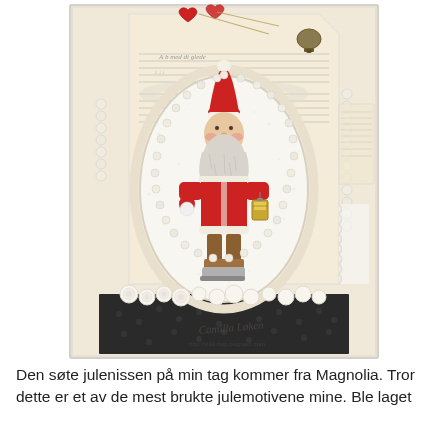[Figure (photo): A handmade Christmas craft tag featuring a Magnolia Santa Claus (julenisse) stamp image in an oval frame decorated with pearls. The Santa figure wears a red suit and hat, has a white beard, and holds a lantern. The tag is decorated with red hearts, music sheet paper, white roses, lace, and pearl strings.]
Den søte julenissen på min tag kommer fra Magnolia. Tror dette er et av de mest brukte julemotivene mine. Ble laget